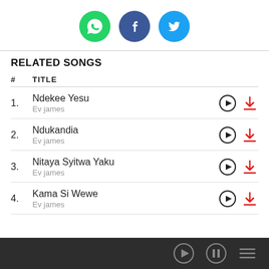[Figure (other): Social share icons: WhatsApp (green), Facebook (dark blue), Twitter (light blue)]
RELATED SONGS
| # | TITLE |  |  |
| --- | --- | --- | --- |
| 1. | Ndekee Yesu
Ev james | ▶ | ⬇ |
| 2. | Ndukandia
Ev james | ▶ | ⬇ |
| 3. | Nitaya Syitwa Yaku
Ev james | ▶ | ⬇ |
| 4. | Kama Si Wewe
Ev james | ▶ | ⬇ |
[Figure (other): Bottom media player bar with play, pause, and playlist icons]